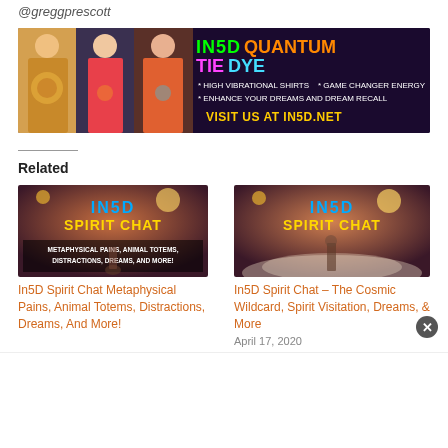@greggprescott
[Figure (infographic): IN5D Quantum Tie Dye banner ad featuring women in tie-dye shirts, colorful text advertising high vibrational shirts, game changer energy, enhance your dreams and dream recall, visit us at in5d.net]
Related
[Figure (screenshot): IN5D Spirit Chat thumbnail - Metaphysical Pains, Animal Totems, Distractions, Dreams, And More!]
In5D Spirit Chat Metaphysical Pains, Animal Totems, Distractions, Dreams, And More!
[Figure (screenshot): IN5D Spirit Chat thumbnail - The Cosmic Wildcard, Spirit Visitation, Dreams, & More]
In5D Spirit Chat – The Cosmic Wildcard, Spirit Visitation, Dreams, & More
April 17, 2020